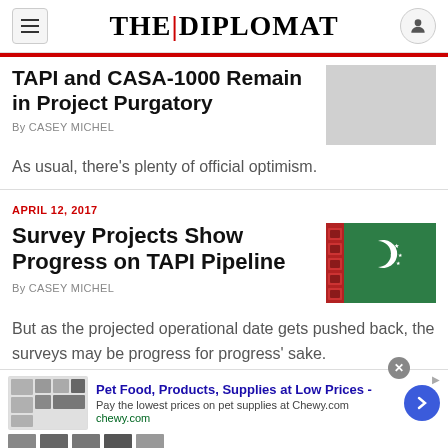THE|DIPLOMAT
TAPI and CASA-1000 Remain in Project Purgatory
By CASEY MICHEL
As usual, there's plenty of official optimism.
APRIL 12, 2017
Survey Projects Show Progress on TAPI Pipeline
By CASEY MICHEL
But as the projected operational date gets pushed back, the surveys may be progress for progress' sake.
[Figure (photo): Turkmenistan flag - green background with red stripe and crescent moon]
Pet Food, Products, Supplies at Low Prices - Pay the lowest prices on pet supplies at Chewy.com chewy.com